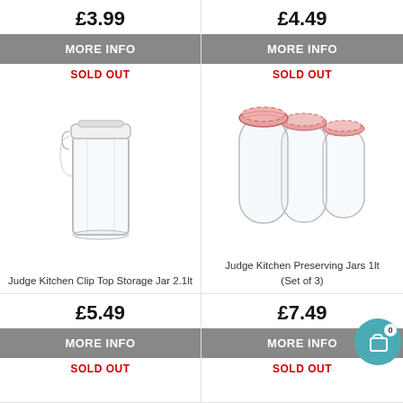£3.99
MORE INFO
SOLD OUT
[Figure (photo): Judge Kitchen Clip Top Storage Jar 2.1lt - clear glass square jar with white clip-top lid]
Judge Kitchen Clip Top Storage Jar 2.1lt
£4.49
MORE INFO
SOLD OUT
[Figure (photo): Judge Kitchen Preserving Jars 1lt Set of 3 - three clear glass jars with red gingham lids]
Judge Kitchen Preserving Jars 1lt (Set of 3)
£5.49
MORE INFO
SOLD OUT
£7.49
MORE INFO
SOLD OUT